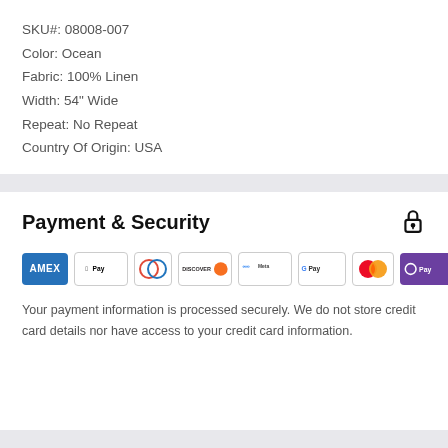SKU#: 08008-007
Color: Ocean
Fabric: 100% Linen
Width: 54" Wide
Repeat: No Repeat
Country Of Origin: USA
Payment & Security
[Figure (logo): Payment method logos: American Express, Apple Pay, Diners Club, Discover, Meta Pay, Google Pay, Mastercard, OPay, Visa]
Your payment information is processed securely. We do not store credit card details nor have access to your credit card information.